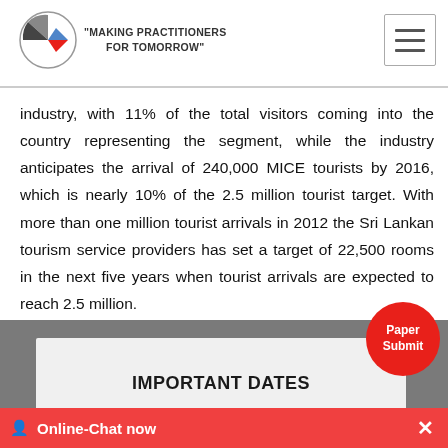"MAKING PRACTITIONERS FOR TOMORROW"
industry, with 11% of the total visitors coming into the country representing the segment, while the industry anticipates the arrival of 240,000 MICE tourists by 2016, which is nearly 10% of the 2.5 million tourist target. With more than one million tourist arrivals in 2012 the Sri Lankan tourism service providers has set a target of 22,500 rooms in the next five years when tourist arrivals are expected to reach 2.5 million.
Discover refreshingly Sri Lanka !
IMPORTANT DATES